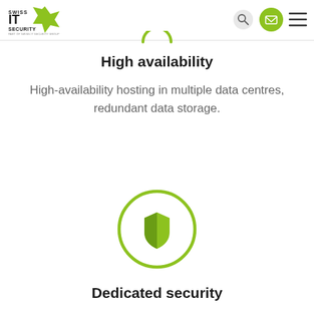[Figure (logo): Swiss IT Security logo - black text with green arrow/star icon]
[Figure (illustration): Navigation bar with search icon (grey circle), mail icon (green circle), and hamburger menu]
[Figure (illustration): Green partial circle arc at top center of content area]
High availability
High-availability hosting in multiple data centres, redundant data storage.
[Figure (illustration): Green circle outline containing a shield icon in olive/lime green, representing dedicated security]
Dedicated security